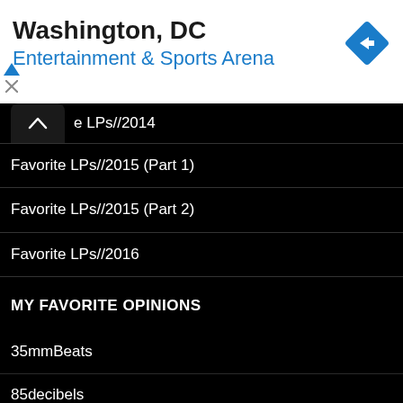[Figure (screenshot): Ad banner for Washington DC Entertainment & Sports Arena with navigation arrow icon]
Favorite LPs//2014
Favorite LPs//2015 (Part 1)
Favorite LPs//2015 (Part 2)
Favorite LPs//2016
MY FAVORITE OPINIONS
35mmBeats
85decibels
A Heart Is A Spade
Aquarium Drunkard